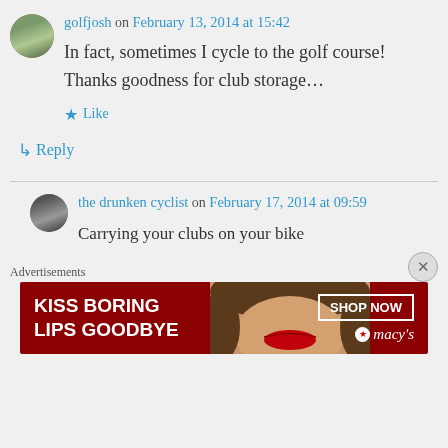golfjosh on February 13, 2014 at 15:42
In fact, sometimes I cycle to the golf course! Thanks goodness for club storage…
Like
Reply
the drunken cyclist on February 17, 2014 at 09:59
Carrying your clubs on your bike
Advertisements
[Figure (photo): Macy's advertisement banner: KISS BORING LIPS GOODBYE with SHOP NOW button and woman's face]